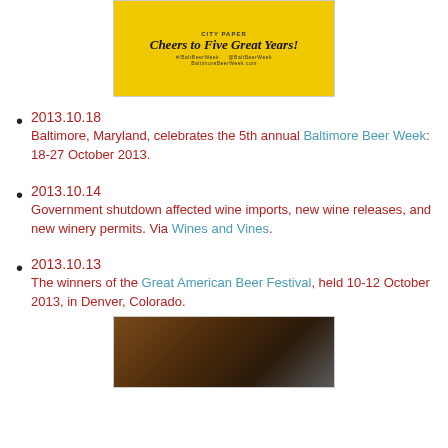[Figure (photo): Yellow Baltimore Beer Week promotional image with text 'Cheers to Five Great Years!' and City Paper branding, social media handles and website URL]
2013.10.18
Baltimore, Maryland, celebrates the 5th annual Baltimore Beer Week: 18-27 October 2013.
2013.10.14
Government shutdown affected wine imports, new wine releases, and new winery permits. Via Wines and Vines.
2013.10.13
The winners of the Great American Beer Festival, held 10-12 October 2013, in Denver, Colorado.
[Figure (photo): Dark indoor photograph showing what appears to be beer festival equipment or brewing equipment]